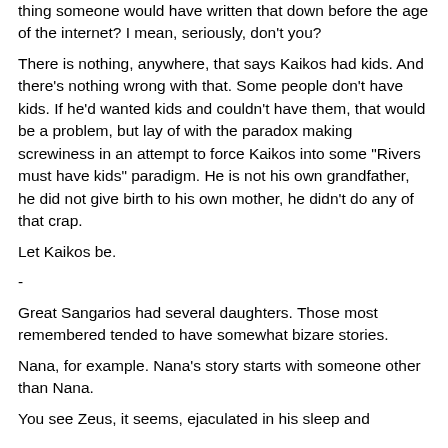thing someone would have written that down before the age of the internet? I mean, seriously, don't you?
There is nothing, anywhere, that says Kaikos had kids.  And there's nothing wrong with that.  Some people don't have kids.  If he'd wanted kids and couldn't have them, that would be a problem, but lay of with the paradox making screwiness in an attempt to force Kaikos into some "Rivers must have kids" paradigm.  He is not his own grandfather, he did not give birth to his own mother, he didn't do any of that crap.
Let Kaikos be.
-
Great Sangarios had several daughters.  Those most remembered tended to have somewhat bizare stories.
Nana, for example.  Nana's story starts with someone other than Nana.
You see Zeus, it seems, ejaculated in his sleep and